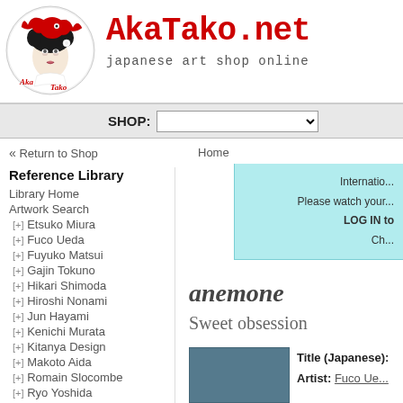[Figure (logo): AkaTako.net circular logo with geisha and red octopus illustration]
AkaTako.net
japanese art shop online
SHOP:
« Return to Shop
Home
Reference Library
Library Home
Artwork Search
[+] Etsuko Miura
[+] Fuco Ueda
[+] Fuyuko Matsui
[+] Gajin Tokuno
[+] Hikari Shimoda
[+] Hiroshi Nonami
[+] Jun Hayami
[+] Kenichi Murata
[+] Kitanya Design
[+] Makoto Aida
[+] Romain Slocombe
[+] Ryo Yoshida
Internatio...
Please watch your...
LOG IN to
Ch...
anemone
Sweet obsession
[Figure (photo): Thumbnail artwork image with blue-grey background]
Title (Japanese):
Artist: Fuco Ue...